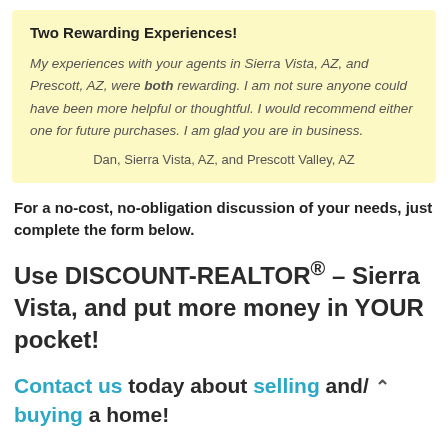Two Rewarding Experiences!

My experiences with your agents in Sierra Vista, AZ, and Prescott, AZ, were both rewarding. I am not sure anyone could have been more helpful or thoughtful. I would recommend either one for future purchases. I am glad you are in business.

Dan, Sierra Vista, AZ, and Prescott Valley, AZ
For a no-cost, no-obligation discussion of your needs, just complete the form below.
Use DISCOUNT-REALTOR® – Sierra Vista, and put more money in YOUR pocket!
Contact us today about selling and/or buying a home!